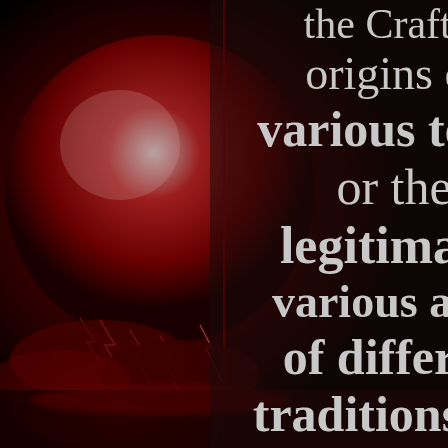[Figure (illustration): Dark dramatic background image showing a large blood-red moon with lightning and red storm clouds reflected in water, set against a black sky. A thin dark red vertical line divides the image roughly in the center.]
the Craft, t origins of various term or the legitimacy various aspe of differen traditions. W are concern